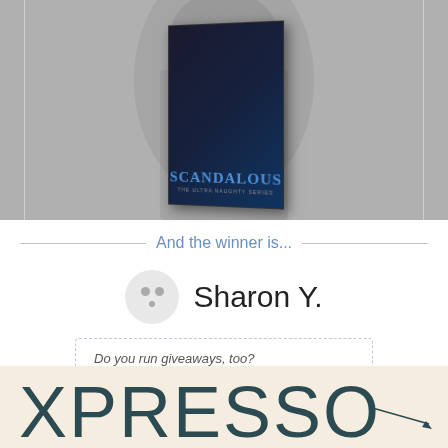[Figure (photo): Book cover of 'Scandalous' displayed against a grayscale background showing a male figure. The book cover is dark navy/black with blue title text.]
And the winner is...
Sharon Y.
Do you run giveaways, too? Try Rafflecopter! It's free.
[Figure (logo): Xpresso logo/banner with large thin-weight letters on a cream/tan background]